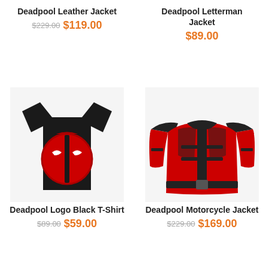Deadpool Leather Jacket
$229.00 $119.00
Deadpool Letterman Jacket
$89.00
[Figure (photo): Man wearing black Deadpool logo t-shirt with red circular Deadpool mask logo]
Deadpool Logo Black T-Shirt
$89.00 $59.00
[Figure (photo): Red and black Deadpool motorcycle leather jacket]
Deadpool Motorcycle Jacket
$229.00 $169.00